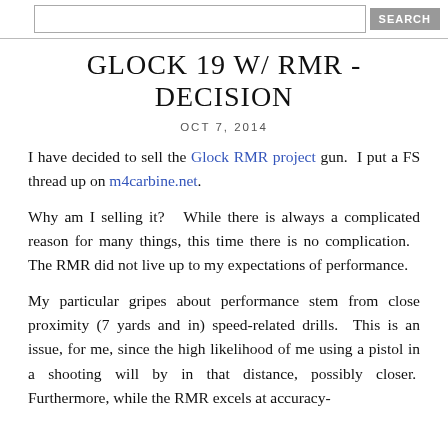SEARCH
GLOCK 19 W/ RMR - DECISION
OCT 7, 2014
I have decided to sell the Glock RMR project gun.  I put a FS thread up on m4carbine.net.
Why am I selling it?  While there is always a complicated reason for many things, this time there is no complication.  The RMR did not live up to my expectations of performance.
My particular gripes about performance stem from close proximity (7 yards and in) speed-related drills.  This is an issue, for me, since the high likelihood of me using a pistol in a shooting will by in that distance, possibly closer.  Furthermore, while the RMR excels at accuracy-